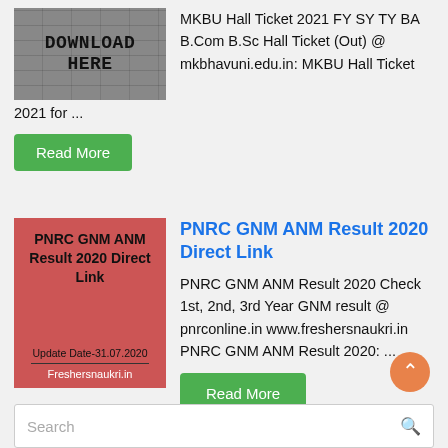[Figure (illustration): Thumbnail image with brick wall background and bold text 'DOWNLOAD HERE']
MKBU Hall Ticket 2021 FY SY TY BA B.Com B.Sc Hall Ticket (Out) @ mkbhavuni.edu.in: MKBU Hall Ticket 2021 for ...
Read More
[Figure (illustration): Red/salmon colored thumbnail with bold text 'PNRC GNM ANM Result 2020 Direct Link', update date 31.07.2020, and Freshersnaukri.in branding]
PNRC GNM ANM Result 2020 Direct Link
PNRC GNM ANM Result 2020 Check 1st, 2nd, 3rd Year GNM result @ pnrconline.in www.freshersnaukri.in PNRC GNM ANM Result 2020: ...
Read More
Search